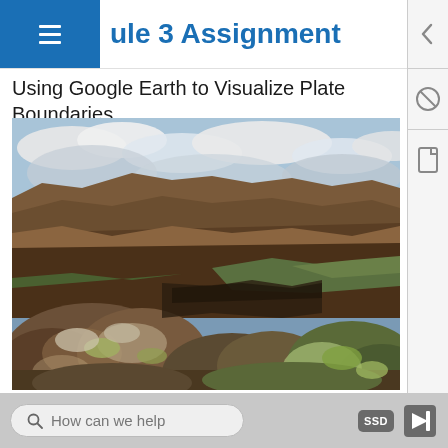ule 3 Assignment
Using Google Earth to Visualize Plate Boundaries
[Figure (photo): Photograph of rocky volcanic terrain with moss-covered boulders and a ridge, under a partly cloudy sky. Likely Iceland or similar geological plate boundary landscape.]
How can we help   SSD